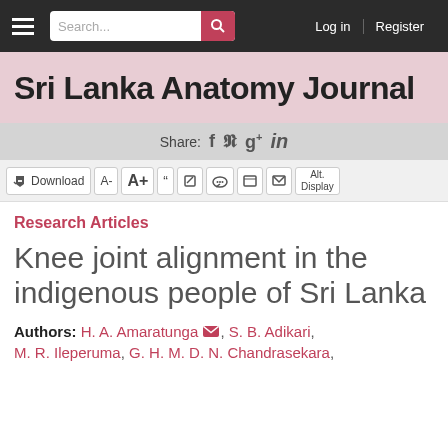Sri Lanka Anatomy Journal — navigation bar with search, log in, register
Sri Lanka Anatomy Journal
Share: f 𝕹 g+ in
Download  A-  A+  "  edit  comment  print  mail  Alt. Display
Research Articles
Knee joint alignment in the indigenous people of Sri Lanka
Authors: H. A. Amaratunga, S. B. Adikari, M. R. Ileperuma, G. H. M. D. N. Chandrasekara,